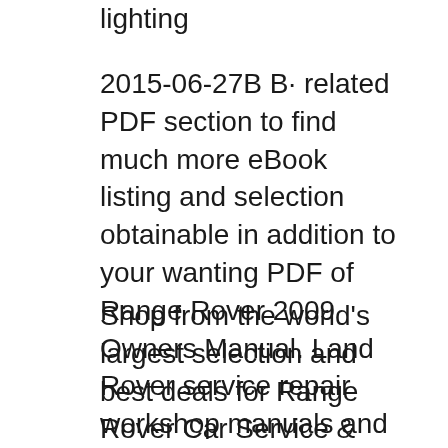lighting
2015-06-27B B· related PDF section to find much more eBook listing and selection obtainable in addition to your wanting PDF of Range Rover 2009 Owners Manual. Land Rover service repair workshop manuals and owner's .pdf Range Rover Sport Hybrid Download Land Rover Discovery 4 L319 LR4 2010-2012 Workshop
Shop from the world's largest selection and best deals for Range Rover Car Service & Repair Manuals 2010. Shop with confidence on eBay! Page 1 of 3104 Free PDF Manual Download for Land Rover Range Rover